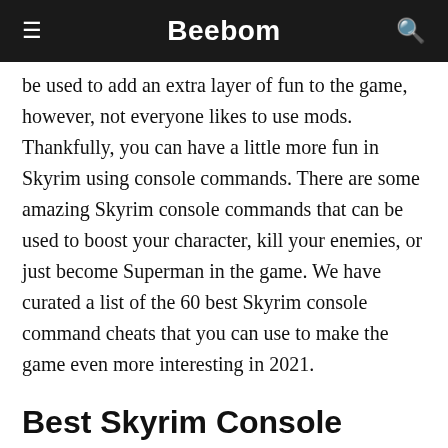Beebom
be used to add an extra layer of fun to the game, however, not everyone likes to use mods. Thankfully, you can have a little more fun in Skyrim using console commands. There are some amazing Skyrim console commands that can be used to boost your character, kill your enemies, or just become Superman in the game. We have curated a list of the 60 best Skyrim console command cheats that you can use to make the game even more interesting in 2021.
Best Skyrim Console Commands (Updated March 2021)